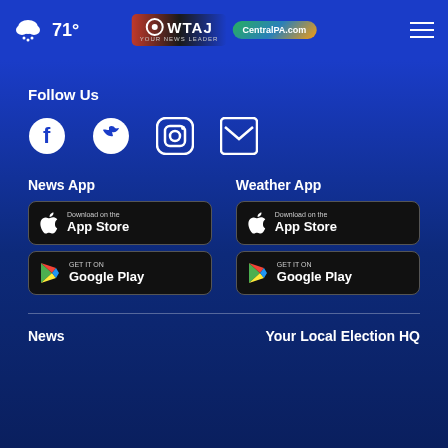71° Weather | WTAJ / CentralPA.com header
Follow Us
[Figure (infographic): Social media icons: Facebook, Twitter, Instagram, Email]
News App
[Figure (infographic): Download on the App Store button]
[Figure (infographic): GET IT ON Google Play button]
Weather App
[Figure (infographic): Download on the App Store button]
[Figure (infographic): GET IT ON Google Play button]
News
Your Local Election HQ